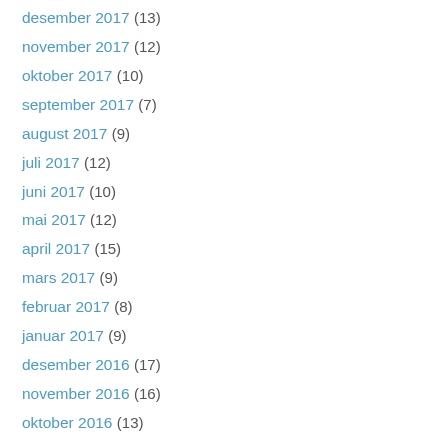desember 2017 (13)
november 2017 (12)
oktober 2017 (10)
september 2017 (7)
august 2017 (9)
juli 2017 (12)
juni 2017 (10)
mai 2017 (12)
april 2017 (15)
mars 2017 (9)
februar 2017 (8)
januar 2017 (9)
desember 2016 (17)
november 2016 (16)
oktober 2016 (13)